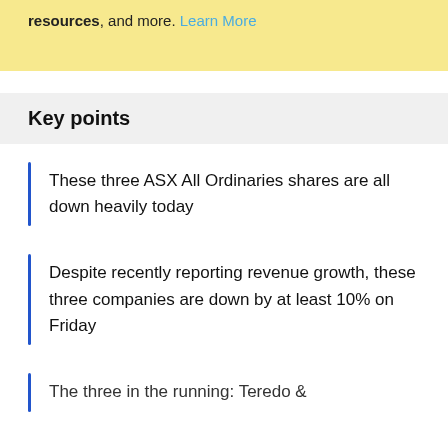resources, and more. Learn More
Key points
These three ASX All Ordinaries shares are all down heavily today
Despite recently reporting revenue growth, these three companies are down by at least 10% on Friday
The three in the running: Teredo &...